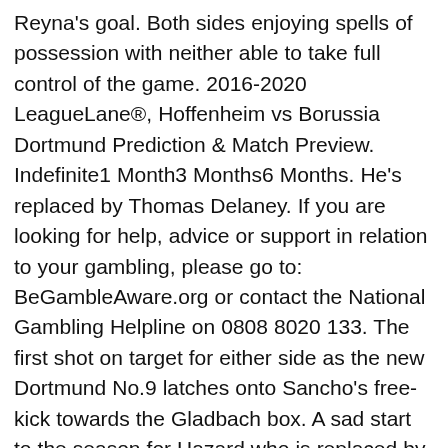Reyna's goal. Both sides enjoying spells of possession with neither able to take full control of the game. 2016-2020 LeagueLane®, Hoffenheim vs Borussia Dortmund Prediction & Match Preview. Indefinite1 Month3 Months6 Months. He's replaced by Thomas Delaney. If you are looking for help, advice or support in relation to your gambling, please go to: BeGambleAware.org or contact the National Gambling Helpline on 0808 8020 133. The first shot on target for either side as the new Dortmund No.9 latches onto Sancho's free-kick towards the Gladbach box. A sad start to the season for Hazard who is replaced by Felix Passlack with that hamstring strain. BT Sport have the rights to German Bundesliga matches in the UK, so it is worth checking their schedule. What a way to start the season for Haaland and Dortmund. Head over to the website or the app to find the full interview, with the Gladbach midfielder stating... "We all know Borussia Dortmund and we know that they're a team who play good football. The Foals have won each